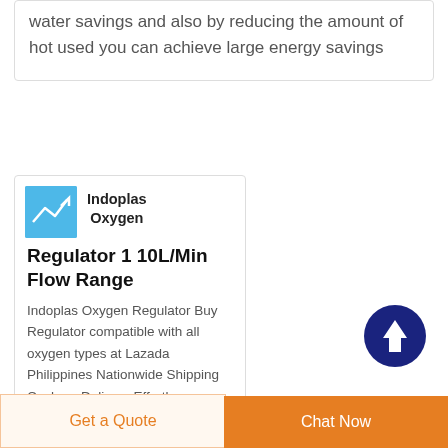water savings and also by reducing the amount of hot used you can achieve large energy savings
Indoplas Oxygen Regulator
Indoplas Oxygen Regulator 1 10L/Min Flow Range
Indoplas Oxygen Regulator Buy Regulator compatible with all oxygen types at Lazada Philippines Nationwide Shipping Cash on Delivery Effortless Shopping
Get a Quote
Chat Now